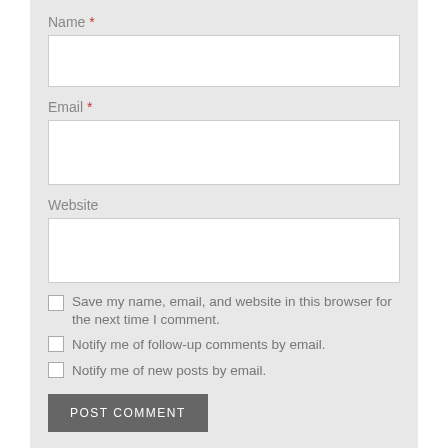Name *
Email *
Website
Save my name, email, and website in this browser for the next time I comment.
Notify me of follow-up comments by email.
Notify me of new posts by email.
POST COMMENT
← Previous Post
Next Post →